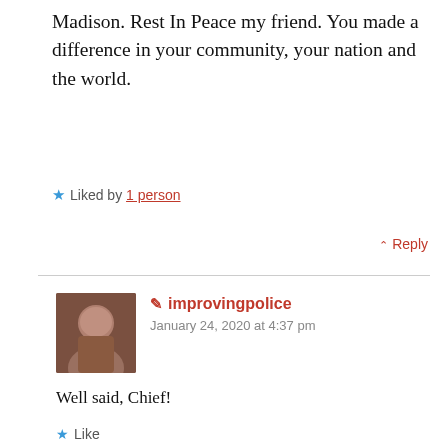Madison. Rest In Peace my friend. You made a difference in your community, your nation and the world.
★ Liked by 1 person
↑ Reply
✏ improvingpolice
January 24, 2020 at 4:37 pm
Well said, Chief!
★ Like
↑ Reply
Ken Pease
January 25, 2020 at 3:40 am